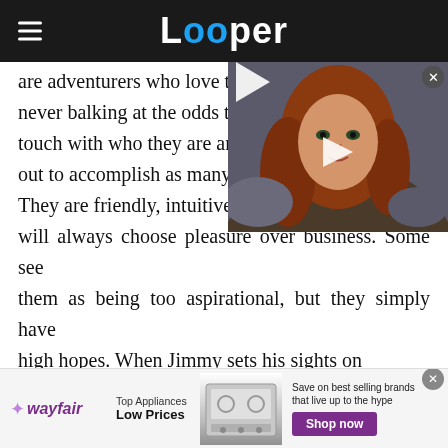Looper
are adventurers who love to take on challenges, never balking at the odds th… touch with who they are an… out to accomplish as many c… They are friendly, intuitive, w… will always choose pleasure over business. Some see them as being too aspirational, but they simply have high hopes. When Jimmy sets his sights on something, he will achieve it more often than not, which is just one of the things fans love about him.
[Figure (screenshot): Floating video player showing a woman with red hair, likely an elf character from a fantasy film, with a play button overlay. Close button (X) in top right corner.]
[Figure (infographic): Wayfair advertisement banner: Top Appliances Low Prices, Save on best selling brands that live up to the hype. Shop now button.]